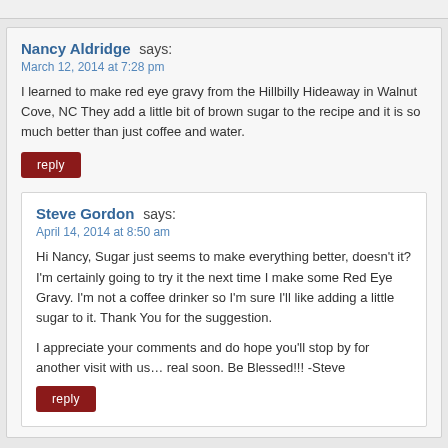Nancy Aldridge says:
March 12, 2014 at 7:28 pm
I learned to make red eye gravy from the Hillbilly Hideaway in Walnut Cove, NC They add a little bit of brown sugar to the recipe and it is so much better than just coffee and water.
reply
Steve Gordon says:
April 14, 2014 at 8:50 am
Hi Nancy, Sugar just seems to make everything better, doesn't it? I'm certainly going to try it the next time I make some Red Eye Gravy. I'm not a coffee drinker so I'm sure I'll like adding a little sugar to it. Thank You for the suggestion.

I appreciate your comments and do hope you'll stop by for another visit with us… real soon. Be Blessed!!! -Steve
reply